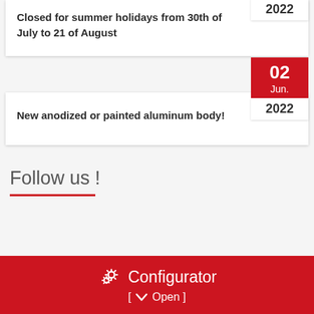2022
Closed for summer holidays from 30th of July to 21 of August
02 Jun. 2022
New anodized or painted aluminum body!
Follow us !
Configurator [ Open ]